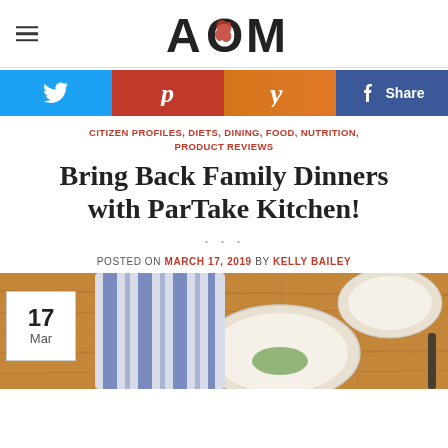AOM (logo)
[Figure (infographic): Social share buttons: Twitter (blue bird icon), Pinterest (red P icon), Yummly (orange-red y icon), Facebook (blue Share button with f icon)]
CITIZEN PROFILES, DIETS, DINING, FOOD, NUTRITION, PRODUCT REVIEWS
Bring Back Family Dinners with ParTake Kitchen!
POSTED ON MARCH 17, 2019 BY KELLY BAILEY
[Figure (photo): Overhead photo of plates and striped cloth napkins on a wooden table, with a date badge overlay showing 17 Mar]